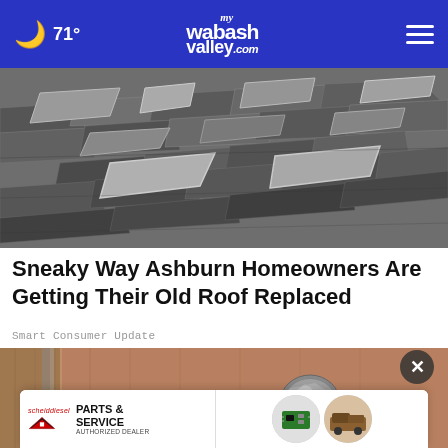71° mywabashvalley.com
[Figure (photo): Black and white photo of damaged, curling, and lifted asphalt roof shingles in disrepair]
Sneaky Way Ashburn Homeowners Are Getting Their Old Roof Replaced
Smart Consumer Update
[Figure (photo): Close-up photo of a door knob wrapped in aluminum foil on a wooden door]
[Figure (other): Scheid Diesel Parts & Service Authorized Dealer advertisement banner with circular product images]